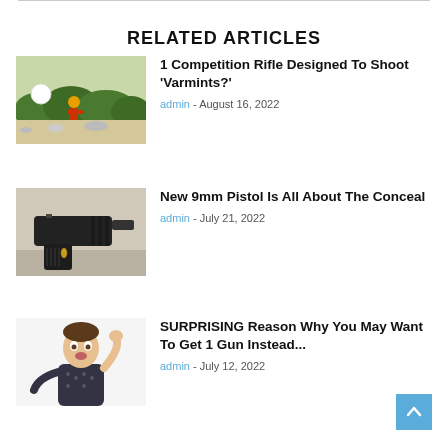RELATED ARTICLES
[Figure (photo): Person shooting rifle outdoors with vegetation background]
1 Competition Rifle Designed To Shoot ‘Varmints?’
admin - August 16, 2022
[Figure (photo): Black 9mm pistol on outdoor surface]
New 9mm Pistol Is All About The Conceal
admin - July 21, 2022
[Figure (photo): Man with surprised expression holding hand to head]
SURPRISING Reason Why You May Want To Get 1 Gun Instead...
admin - July 12, 2022